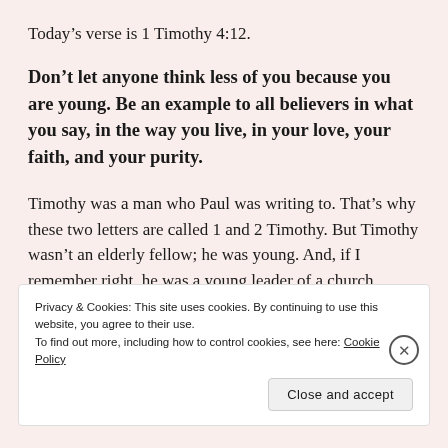Today’s verse is 1 Timothy 4:12.
Don’t let anyone think less of you because you are young. Be an example to all believers in what you say, in the way you live, in your love, your faith, and your purity.
Timothy was a man who Paul was writing to. That’s why these two letters are called 1 and 2 Timothy. But Timothy wasn’t an elderly fellow; he was young. And, if I remember right, he was a young leader of a church.
Privacy & Cookies: This site uses cookies. By continuing to use this website, you agree to their use.
To find out more, including how to control cookies, see here: Cookie Policy